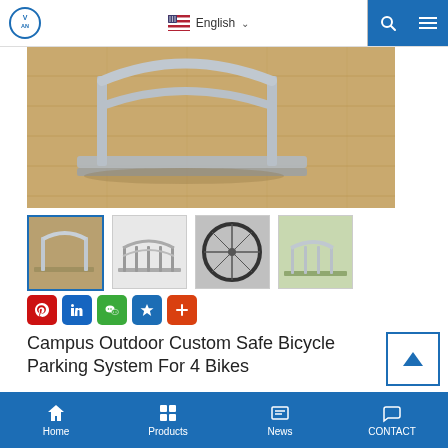VAN logo | English | Search | Menu
[Figure (photo): Close-up photo of a metal bicycle parking rack/stand on a wooden floor, silver galvanized steel construction]
[Figure (photo): Thumbnail 1: bicycle rack viewed from above, active/selected]
[Figure (photo): Thumbnail 2: bicycle rack line drawing/diagram style]
[Figure (photo): Thumbnail 3: close-up of bicycle wheel in rack]
[Figure (photo): Thumbnail 4: bicycle rack on green surface]
Social sharing icons: Pinterest, LinkedIn, WeChat, Zaker, Add
Campus Outdoor Custom Safe Bicycle Parking System For 4 Bikes
Home | Products | News | CONTACT